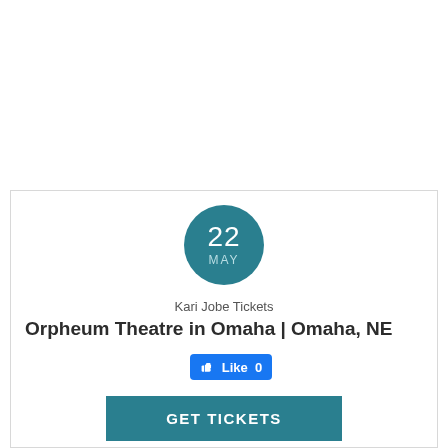[Figure (other): Teal circular date badge showing '22' and 'MAY']
Kari Jobe Tickets
Orpheum Theatre in Omaha | Omaha, NE
[Figure (other): Facebook Like button showing thumbs up icon and 'Like 0']
GET TICKETS